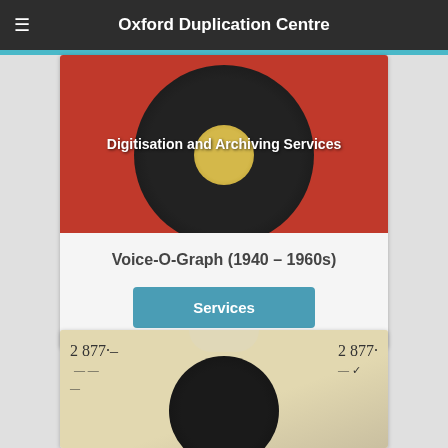Oxford Duplication Centre
[Figure (photo): Vinyl record on red background with text overlay 'Digitisation and Archiving Services']
Voice-O-Graph (1940 – 1960s)
Services
[Figure (photo): Vinyl record in paper sleeve stamped with number 2877, partially visible from top of sleeve]